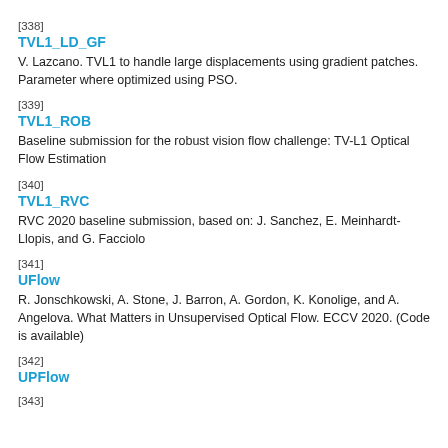[338]
TVL1_LD_GF
V. Lazcano. TVL1 to handle large displacements using gradient patches. Parameter where optimized using PSO.
[339]
TVL1_ROB
Baseline submission for the robust vision flow challenge: TV-L1 Optical Flow Estimation
[340]
TVL1_RVC
RVC 2020 baseline submission, based on: J. Sanchez, E. Meinhardt-Llopis, and G. Facciolo
[341]
UFlow
R. Jonschkowski, A. Stone, J. Barron, A. Gordon, K. Konolige, and A. Angelova. What Matters in Unsupervised Optical Flow. ECCV 2020. (Code is available)
[342]
UPFlow
[343]